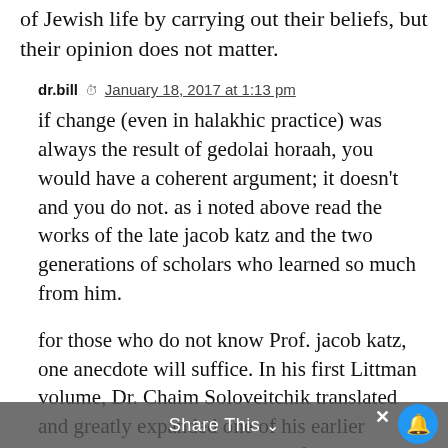of Jewish life by carrying out their beliefs, but their opinion does not matter.
dr.bill  January 18, 2017 at 1:13 pm
if change (even in halakhic practice) was always the result of gedolai horaah, you would have a coherent argument; it doesn't and you do not.  as i noted above read the works of the late jacob katz and the two generations of scholars who learned so much from him.
for those who do not know Prof. jacob katz, one anecdote will suffice.  In his first Littman volume, Dr. Chaim Soloveitchik translated and greatly expanded one of his earlier hebrew articles.  he apologized for the difficulty of the original article, admitting it was primarily written for his father, Prof.
Share This